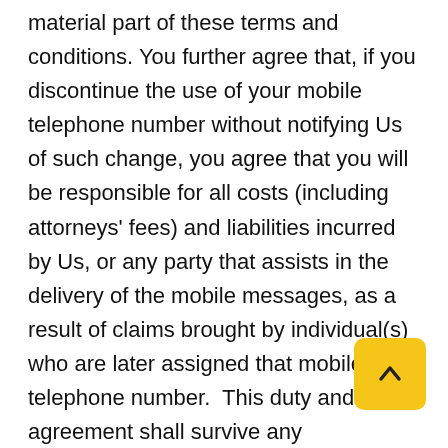material part of these terms and conditions. You further agree that, if you discontinue the use of your mobile telephone number without notifying Us of such change, you agree that you will be responsible for all costs (including attorneys' fees) and liabilities incurred by Us, or any party that assists in the delivery of the mobile messages, as a result of claims brought by individual(s) who are later assigned that mobile telephone number. This duty and agreement shall survive any cancellation or termination of your agreement to participate in any of our Programs.